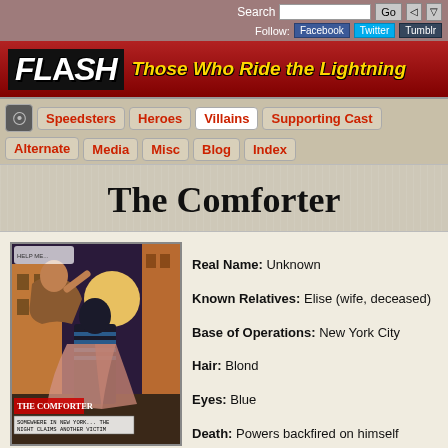Search  Go  Follow: Facebook Twitter Tumblr
[Figure (logo): FLASH Those Who Ride the Lightning banner logo with red background]
Speedsters | Heroes | Villains | Supporting Cast | Alternate | Media | Misc | Blog | Index
The Comforter
[Figure (illustration): Comic book art showing The Comforter villain in a dark costume with striped shirt, grabbing a man in an alley at night with a yellow moon in background]
Real Name: Unknown
Known Relatives: Elise (wife, deceased)
Base of Operations: New York City
Hair: Blond
Eyes: Blue
Death: Powers backfired on himself (Flash v.2 #31, October 1989)
First Appearance: Flash v.2 #31, October 1989